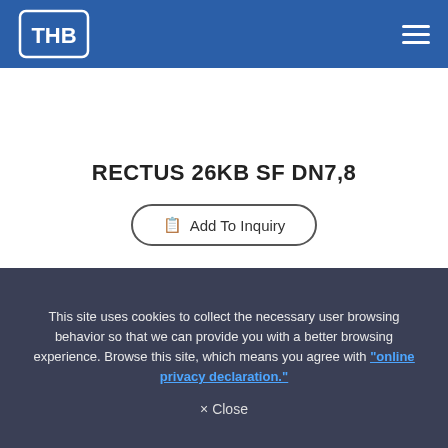THB logo and navigation menu
RECTUS 26KB SF DN7,8
Add To Inquiry
This site uses cookies to collect the necessary user browsing behavior so that we can provide you with a better browsing experience. Browse this site, which means you agree with "online privacy declaration."
× Close